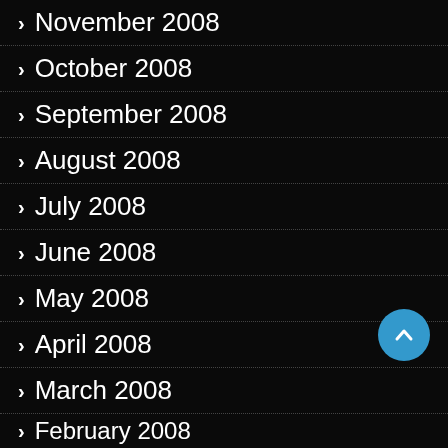❯ November 2008
❯ October 2008
❯ September 2008
❯ August 2008
❯ July 2008
❯ June 2008
❯ May 2008
❯ April 2008
❯ March 2008
❯ February 2008